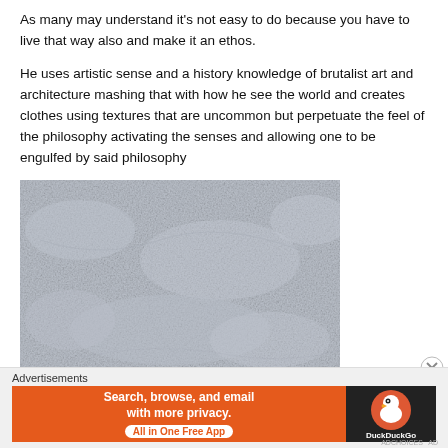As many may understand it's not easy to do because you have to live that way also and make it an ethos.
He uses artistic sense and a history knowledge of brutalist art and architecture mashing that with how he see the world and creates clothes using textures that are uncommon but perpetuate the feel of the philosophy activating the senses and allowing one to be engulfed by said philosophy
[Figure (photo): A light grey stone or concrete texture surface, photographed as a roughly rectangular image.]
Advertisements
Search, browse, and email with more privacy. All in One Free App — DuckDuckGo